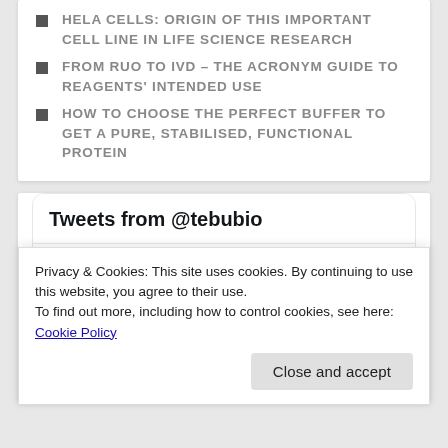HELA CELLS: ORIGIN OF THIS IMPORTANT CELL LINE IN LIFE SCIENCE RESEARCH
FROM RUO TO IVD – THE ACRONYM GUIDE TO REAGENTS' INTENDED USE
HOW TO CHOOSE THE PERFECT BUFFER TO GET A PURE, STABILISED, FUNCTIONAL PROTEIN
[Figure (screenshot): Twitter widget showing 'Tweets from @tebubio' header, with a Tebubio account tweet entry showing avatar, name 'Tebubio', handle '@tebubio · Jul 4', and Twitter bird icon]
Privacy & Cookies: This site uses cookies. By continuing to use this website, you agree to their use.
To find out more, including how to control cookies, see here: Cookie Policy
Close and accept